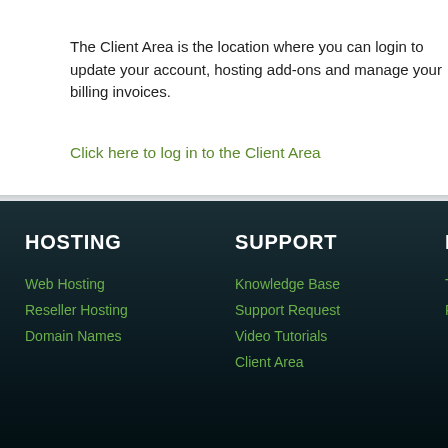The Client Area is the location where you can login to update your account, hosting add-ons and manage your billing invoices.
Click here to log in to the Client Area
HOSTING
SUPPORT
LE
Web Hosting
Reseller Hosting
Domain Names
Knowledge Base
Support Request
Video Tutorials
Client Area
Term
Priv